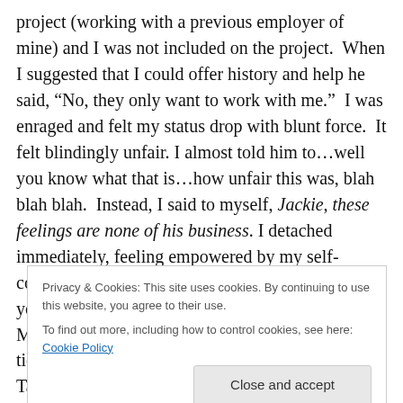project (working with a previous employer of mine) and I was not included on the project.  When I suggested that I could offer history and help he said, “No, they only want to work with me.”  I was enraged and felt my status drop with blunt force.  It felt blindingly unfair. I almost told him to…well you know what that is…how unfair this was, blah blah blah.  Instead, I said to myself, Jackie, these feelings are none of his business. I detached immediately, feeling empowered by my self-control. I said, “I’m happy for the team and I know you’ll do a great job.”  He smiled and thanked me.  Most importantly, I took the high road
Privacy & Cookies: This site uses cookies. By continuing to use this website, you agree to their use.
To find out more, including how to control cookies, see here: Cookie Policy
tick and where you need to grow. Read about it.  Talk with